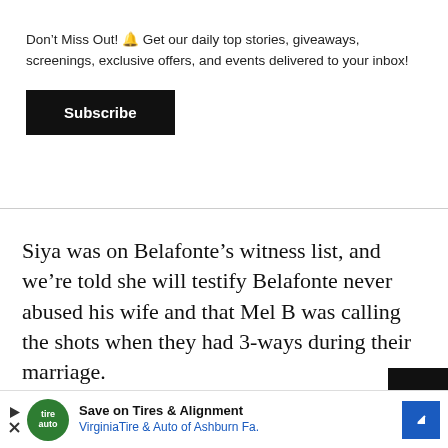Don't Miss Out! 🔔 Get our daily top stories, giveaways, screenings, exclusive offers, and events delivered to your inbox!
Subscribe
Siya was on Belafonte's witness list, and we're told she will testify Belafonte never abused his wife and that Mel B was calling the shots when they had 3-ways during their marriage.
[Figure (infographic): Advertisement banner for Virginia Tire & Auto of Ashburn Fa. with logo, text 'Save on Tires & Alignment', play/close controls, and blue directional arrow icon.]